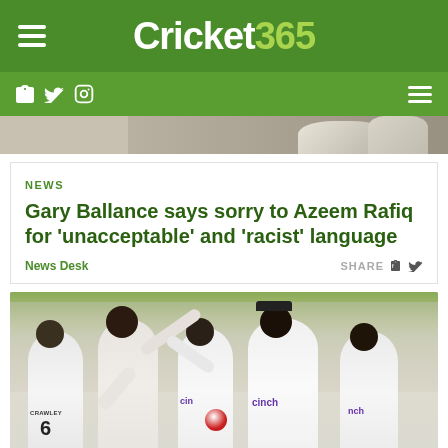Cricket365
NEWS
Gary Ballance says sorry to Azeem Rafiq for ‘unacceptable’ and ‘racist’ language
News Desk
SHARE
[Figure (photo): England cricket players in white test kits celebrating on field, player with number 6 and name CRAWLEY visible, cinch sponsor on shirts, crowd in background]